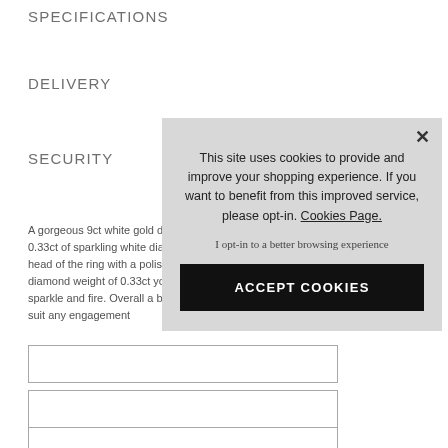SPECIFICATIONS
DELIVERY
SECURITY
A gorgeous 9ct white gold diamond half eternity ring. Featuring 0.33ct of sparkling white diamonds, channel set across the head of the ring with a polished border.With an approx total diamond weight of 0.33ct you cam be sure of exceptional sparkle and fire. Overall a beautiful and classic ring that would suit any engagement
[Figure (screenshot): Cookie consent modal overlay with text: 'This site uses cookies to provide and improve your shopping experience. If you want to benefit from this improved service, please opt-in. Cookies Page.' with opt-in link and ACCEPT COOKIES button]